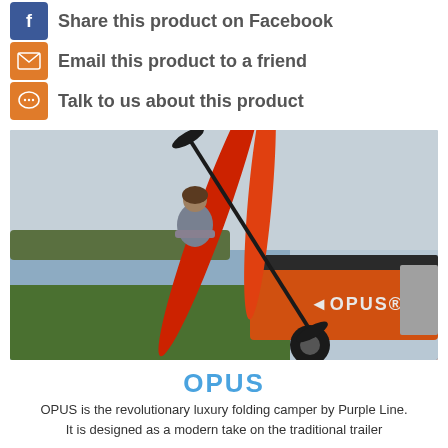Share this product on Facebook
Email this product to a friend
Talk to us about this product
[Figure (photo): Man standing next to red kayaks loaded on an orange OPUS folding camper trailer near a lake]
OPUS
OPUS is the revolutionary luxury folding camper by Purple Line.
It is designed as a modern take on the traditional trailer